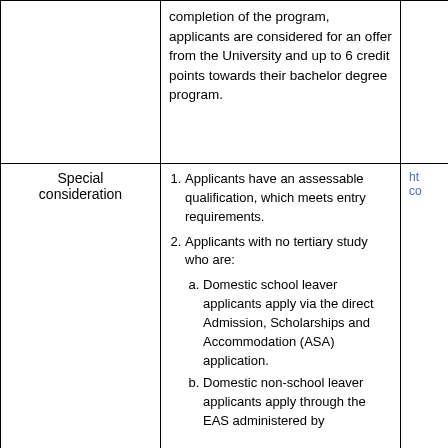|  | ...completion of the program, applicants are considered for an offer from the University and up to 6 credit points towards their bachelor degree program. |  |
| Special consideration | 1. Applicants have an assessable qualification, which meets entry requirements.
2. Applicants with no tertiary study who are:
  a. Domestic school leaver applicants apply via the direct Admission, Scholarships and Accommodation (ASA) application.
  b. Domestic non-school leaver applicants apply through the EAS administered by | ht...co... |